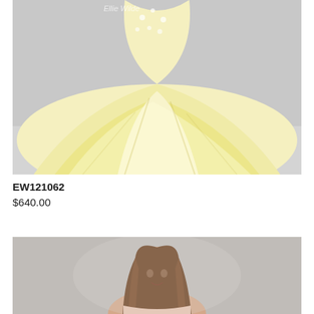[Figure (photo): Close-up of a light yellow/cream ballgown dress with floral lace bodice details, showing the full skirt spread out. Watermark text partially visible at top.]
EW121062
$640.00
[Figure (photo): A smiling young woman with long brown hair wearing a strapless dress, shown from the shoulders up against a light gray background.]